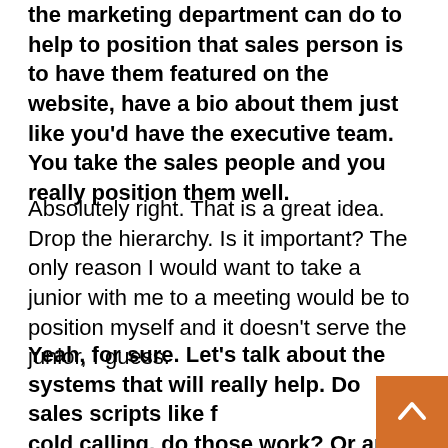the marketing department can do to help to position that sales person is to have them featured on the website, have a bio about them just like you'd have the executive team. You take the sales people and you really position them well.
Absolutely right. That is a great idea. Drop the hierarchy. Is it important? The only reason I would want to take a junior with me to a meeting would be to position myself and it doesn't serve the junior, I guess.
Yeah, for sure. Let's talk about the systems that will really help. Do sales scripts like for cold calling, do those work? Or are there other systems that really exist?